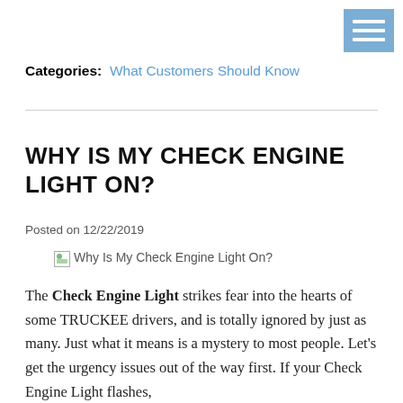Categories: What Customers Should Know
WHY IS MY CHECK ENGINE LIGHT ON?
Posted on 12/22/2019
[Figure (photo): Why Is My Check Engine Light On? (broken image placeholder)]
The Check Engine Light strikes fear into the hearts of some TRUCKEE drivers, and is totally ignored by just as many. Just what it means is a mystery to most people. Let's get the urgency issues out of the way first. If your Check Engine Light flashes,